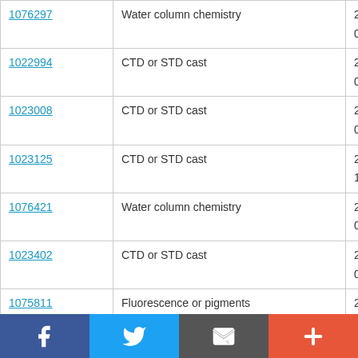| ID | Type | Date |
| --- | --- | --- |
| 1076297 | Water column chemistry | 2009-0… 08:30:0 |
| 1022994 | CTD or STD cast | 2009-0… 08:35:0 |
| 1023008 | CTD or STD cast | 2009-0… 09:27:0 |
| 1023125 | CTD or STD cast | 2009-0… 19:57:0 |
| 1076421 | Water column chemistry | 2009-0… 00:00:0 |
| 1023402 | CTD or STD cast | 2009-0… 05:18:0 |
| 1075811 | Fluorescence or pigments | 2009-0… 07:30:0 |
[Figure (other): Social media sharing bar with Facebook, Twitter, email, and plus buttons]